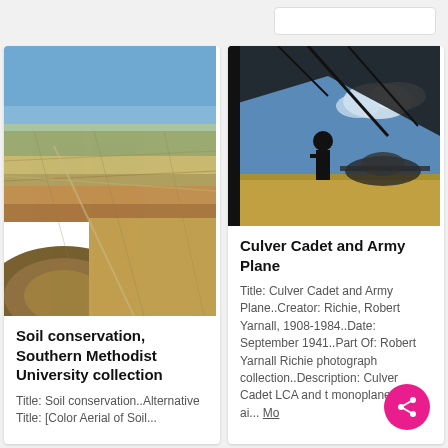[Figure (photo): Aerial photograph of soil conservation farmland showing geometric field patterns from above, blue sky horizon]
Soil conservation, Southern Methodist University collection
Title: Soil conservation..Alternative Title: [Color Aerial of Soil...
[Figure (photo): Photograph of a Culver Cadet and Army Plane on airfield, silhouetted figure, blue sky with clouds]
Culver Cadet and Army Plane
Title: Culver Cadet and Army Plane..Creator: Richie, Robert Yarnall, 1908-1984..Date: September 1941..Part Of: Robert Yarnall Richie photograph collection..Description: Culver Cadet LCA and t monoplanes at ai... Mo